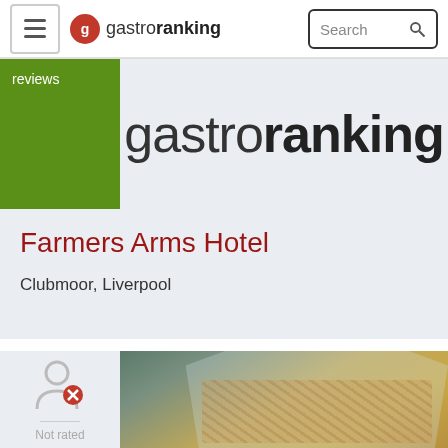gastroranking — Search
[Figure (logo): Gastroranking logo with green reviews box and site name]
Farmers Arms Hotel
Clubmoor, Liverpool
[Figure (photo): Photo of a clear plastic bag containing small cooked shrimp/prawns, held by a hand, with a dark vehicle in the background. A user icon with a red X mark and 'Not rated' label appear on the left side.]